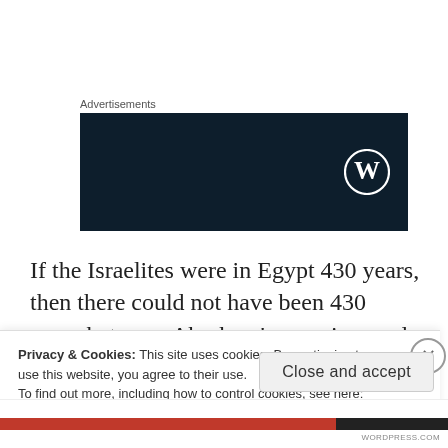Advertisements
[Figure (logo): Dark navy blue advertisement banner with WordPress logo (circle W) on the right side]
If the Israelites were in Egypt 430 years, then there could not have been 430 years between Abraham's promises and the law.
For those not familiar with the story, God made this
Privacy & Cookies: This site uses cookies. By continuing to use this website, you agree to their use.
To find out more, including how to control cookies, see here: Cookie Policy
Close and accept